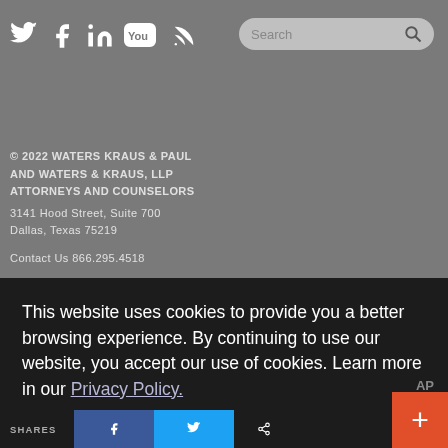[Figure (other): Social media icons row: Twitter, Facebook, LinkedIn, YouTube, RSS]
[Figure (other): Search bar with magnifying glass icon]
© 2022 WATERS KRAUS & PAUL AND WATERS & KRAUS, LLP ATTORNEYS AND COUNSELORS
3141 Hood Street, Suite 700
Dallas, Texas 75219

Contact Us 866.295.4518

Privacy Policy | CCPA | Legal Notice
This website uses cookies to provide you a better browsing experience. By continuing to use our website, you accept our use of cookies. Learn more in our Privacy Policy.
I understand
SHARES